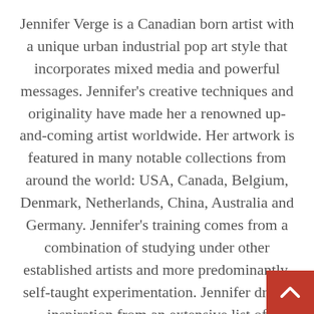Jennifer Verge is a Canadian born artist with a unique urban industrial pop art style that incorporates mixed media and powerful messages.  Jennifer's creative techniques and originality have made her a renowned up-and-coming artist worldwide.  Her artwork is featured in many notable collections from around the world: USA, Canada, Belgium, Denmark, Netherlands, China, Australia and Germany.  Jennifer's training comes from a combination of studying under other established artists and more predominantly, self-taught experimentation.   Jennifer draws inspiration from an extensive list of accomplished artists, such as:   Frida Kahlo, Lourenco Didier, Joan Corno, Andy Warhol and Banksy.  Jennifer's